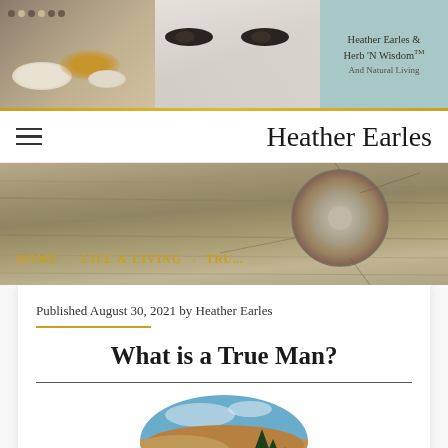[Figure (photo): Website banner with spices/bowls on left, close-up of eyes in center, teal background on right with text 'Heather Earles & Herb N Wisdom TM And Natural Living']
Heather Earles & Herb 'N Wisdom™ And Natural Living
Heather Earles
[Figure (photo): Rustic wood plank background with a prominent wood knot in the upper right, navigation links in golden text: HOME, LIFE & LIVING, and partially visible text]
Published August 30, 2021 by Heather Earles
What is a True Man?
[Figure (photo): Circular cropped landscape photo showing orange/sandy hills and dark evergreen forest under a blue sky with clouds]